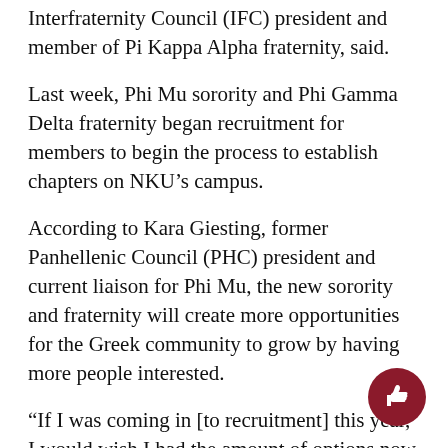Interfraternity Council (IFC) president and member of Pi Kappa Alpha fraternity, said.
Last week, Phi Mu sorority and Phi Gamma Delta fraternity began recruitment for members to begin the process to establish chapters on NKU’s campus.
According to Kara Giesting, former Panhellenic Council (PHC) president and current liaison for Phi Mu, the new sorority and fraternity will create more opportunities for the Greek community to grow by having more people interested.
“If I was coming in [to recruitment] this year, I would wish I had the amount of options now that I didn’t in 2012,” Giesting said.
Overall, Seal said this addition to the Greek community only provides an even richer